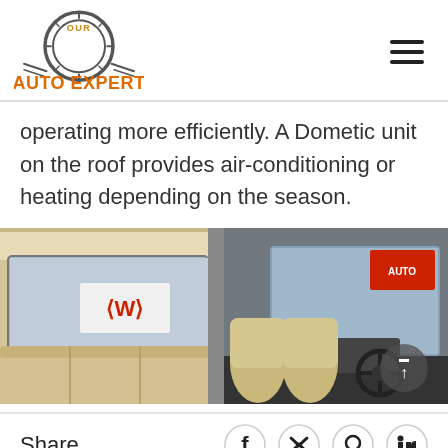[Figure (logo): Our Auto Expert logo — orange and dark grey automotive logo with circular gear/tire motif and text AUTO EXPERT]
operating more efficiently. A Dometic unit on the roof provides air-conditioning or heating depending on the season.
[Figure (photo): Interior photo of a motorhome/RV showing cream leather seats, cab area with steering wheel and dashboard, and side windows]
Share
[Figure (infographic): Social sharing icons: Facebook, Twitter/X, Pinterest, LinkedIn]